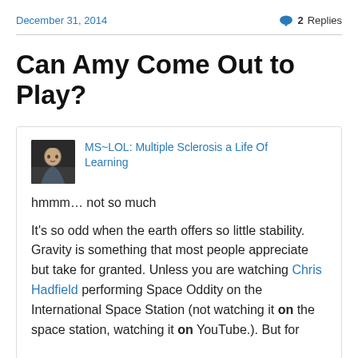December 31, 2014   💬 2 Replies
Can Amy Come Out to Play?
MS~LOL: Multiple Sclerosis a Life Of Learning
hmmm… not so much
It's so odd when the earth offers so little stability. Gravity is something that most people appreciate but take for granted. Unless you are watching Chris Hadfield performing Space Oddity on the International Space Station (not watching it on the space station, watching it on YouTube.). But for